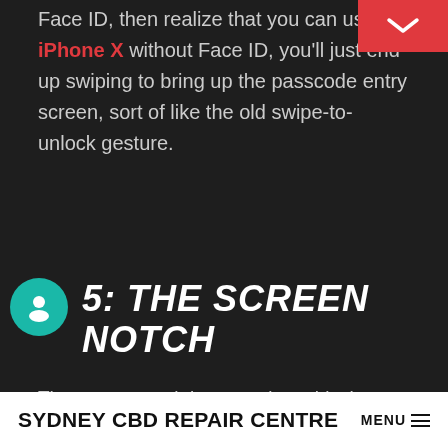Face ID, then realize that you can use iPhone X without Face ID, you'll just end up swiping to bring up the passcode entry screen, sort of like the old swipe-to-unlock gesture.
5: THE SCREEN NOTCH
The screen notch is a prominent black section on the top of the iPhone X screen that houses the front speaker, front camera, the Face ID sensors, and lighting detectors. Most iPhone X users don't care about The Notch at the
SYDNEY CBD REPAIR CENTRE MENU ≡